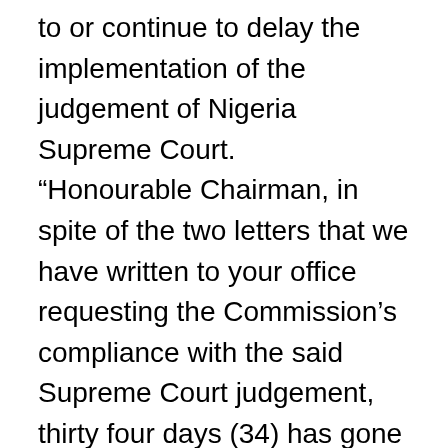to or continue to delay the implementation of the judgement of Nigeria Supreme Court. “Honourable Chairman, in spite of the two letters that we have written to your office requesting the Commission’s compliance with the said Supreme Court judgement, thirty four days (34) has gone and the Commission has continued to play a very dangerous and debilitative mind game on a matter that bothers on the survival or otherwise of the Party. “I am as curious as any other Nigerian as to why it has taken this long for a Supreme Court judgment to be obeyed. It has never taken this long for the Commission to acknowledge Court judgements, considering the fact this is the same Suit that gave